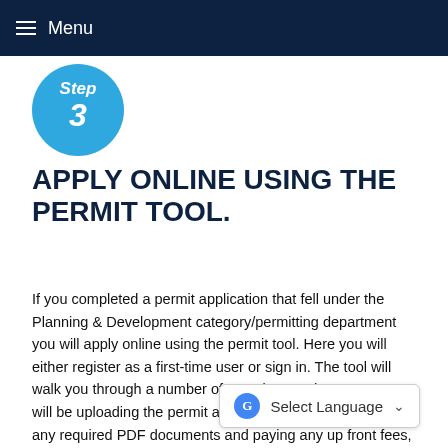Menu
[Figure (infographic): Blue circle with 'Step 3' text inside]
APPLY ONLINE USING THE PERMIT TOOL.
If you completed a permit application that fell under the Planning & Development category/permitting department you will apply online using the permit tool. Here you will either register as a first-time user or sign in. The tool will walk you through a number of questions and prompts. You will be uploading the permit application you filled out and any required PDF documents and paying any up front fees, if applicable.